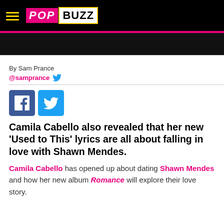POPBUZZ
[Figure (photo): Dark image placeholder below header]
By Sam Prance
@samprance
[Figure (infographic): Facebook and Twitter social share buttons]
Camila Cabello also revealed that her new 'Used to This' lyrics are all about falling in love with Shawn Mendes.
Camila Cabello has opened up about dating Shawn Mendes and how her new album Romance will explore their love story.